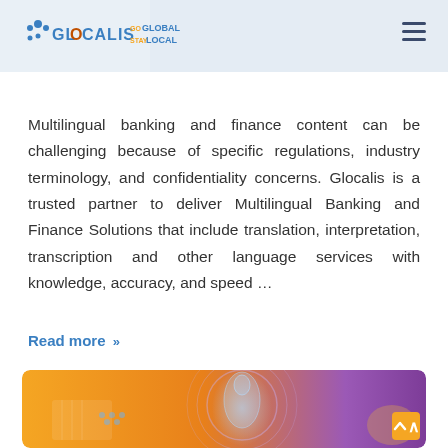Glocalis - Go Global Stay Local
Multilingual banking and finance content can be challenging because of specific regulations, industry terminology, and confidentiality concerns. Glocalis is a trusted partner to deliver Multilingual Banking and Finance Solutions that include translation, interpretation, transcription and other language services with knowledge, accuracy, and speed ...
Read more »
[Figure (photo): Medical/scientific illustration showing a glowing human figure with digital health and technology elements, on an orange and purple background]